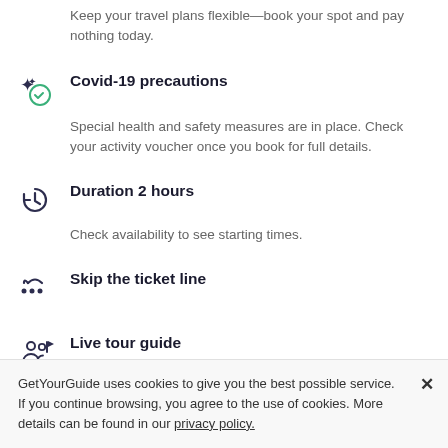Keep your travel plans flexible—book your spot and pay nothing today.
Covid-19 precautions
Special health and safety measures are in place. Check your activity voucher once you book for full details.
Duration 2 hours
Check availability to see starting times.
Skip the ticket line
Live tour guide
GetYourGuide uses cookies to give you the best possible service. If you continue browsing, you agree to the use of cookies. More details can be found in our privacy policy.